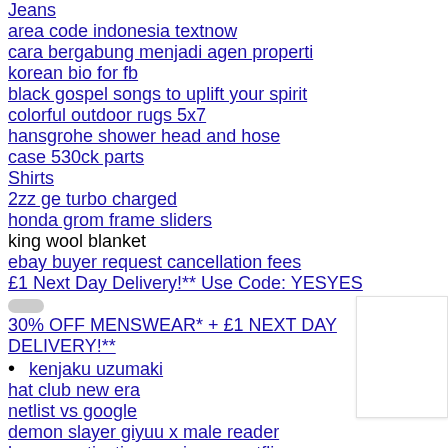Jeans
area code indonesia textnow
cara bergabung menjadi agen properti
korean bio for fb
black gospel songs to uplift your spirit
colorful outdoor rugs 5x7
hansgrohe shower head and hose
case 530ck parts
Shirts
2zz ge turbo charged
honda grom frame sliders
king wool blanket
ebay buyer request cancellation fees
£1 Next Day Delivery!** Use Code: YESYES
30% OFF MENSWEAR* + £1 NEXT DAY DELIVERY!**
kenjaku uzumaki
hat club new era
netlist vs google
demon slayer giyuu x male reader
human extinction movies on netflix
discord gif pfp boy
windfall reddit
w210 diagnostic scanner
edgerouter x datasheet
polaris code 520221-21